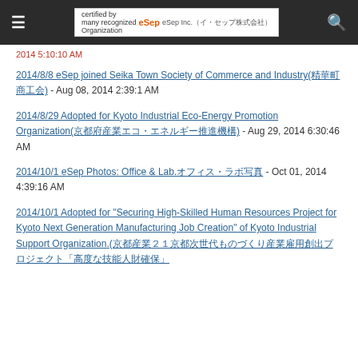eSep Inc. (イ・セップ株式会社)
2014 5:10:10 AM
2014/8/8 eSep joined Seika Town Society of Commerce and Industry(精華町商工会) - Aug 08, 2014 2:39:1 AM
2014/8/29 Adopted for Kyoto Industrial Eco-Energy Promotion Organization(京都府産業エコ・エネルギー推進機構) - Aug 29, 2014 6:30:46 AM
2014/10/1 eSep Photos: Office & Lab.オフィス・ラボ写真 - Oct 01, 2014 4:39:16 AM
2014/10/1 Adopted for "Securing High-Skilled Human Resources Project for Kyoto Next Generation Manufacturing Job Creation" of Kyoto Industrial Support Organization.(京都産業２１京都次世代ものづくり産業雇用創出プロジェクト「高度な技能人財確保」への採択